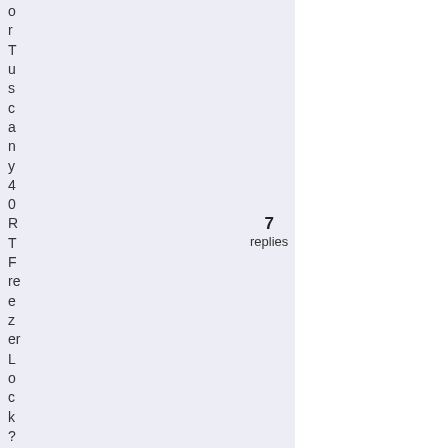or Tuscany 40RTFrezerLock? bossma
7 replies